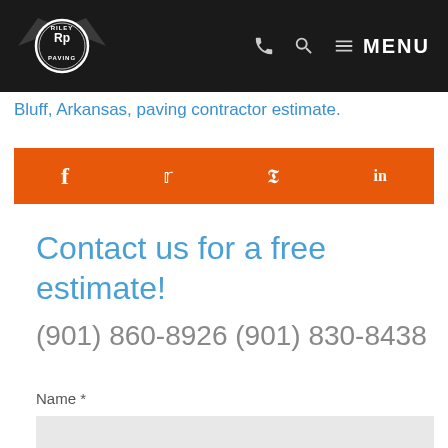[Figure (logo): Riley Paving logo — circular badge with wings on dark header bar with phone, search, and MENU icons]
Bluff, Arkansas, paving contractor estimate.
[Figure (infographic): Orange social sharing bar with Facebook (f), Twitter (bird), Pinterest (p), and LinkedIn (in) icons]
Contact us for a free estimate!
(901) 860-8926 (901) 830-8438
Name *